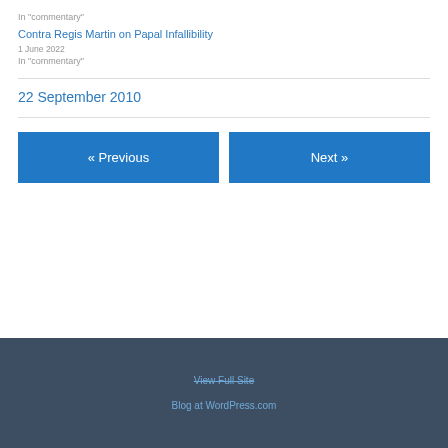In "commentary"
Contra Regis Martin on Papal Infallibility
1 June 2022
In "commentary"
22 September 2010
« Previous
Next »
View Full Site
Blog at WordPress.com